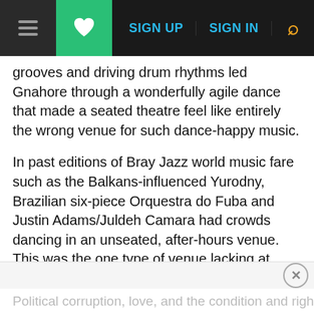Navigation bar with menu, heart/save, SIGN UP, SIGN IN, search
grooves and driving drum rhythms led Gnahore through a wonderfully agile dance that made a seated theatre feel like entirely the wrong venue for such dance-happy music.
In past editions of Bray Jazz world music fare such as the Balkans-influenced Yurodny, Brazilian six-piece Orquestra do Fuba and Justin Adams/Juldeh Camara had crowds dancing in an unseated, after-hours venue. This was the one type of venue lacking at Bray Jazz in this edition, though that said, Gnahore's infectious personality had the crowd on its feet and dancing as best it could in the narrow space between seated rows.
Political corruption, love, and the condition and rights